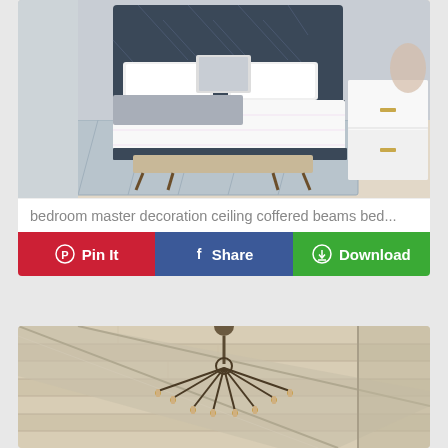[Figure (photo): Bedroom photo showing a dark navy upholstered bed with white bedding, a wooden bench at the foot of the bed, a patterned area rug, light wood flooring, and a white nightstand with gold hardware]
bedroom master decoration ceiling coffered beams bed...
[Figure (photo): Photo of a rustic ceiling with whitewashed wooden planks and exposed beams, featuring a wrought iron chandelier with candle-style lights hanging from center]